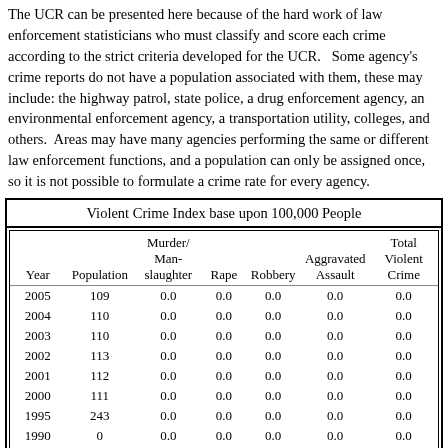The UCR can be presented here because of the hard work of law enforcement statisticians who must classify and score each crime according to the strict criteria developed for the UCR.  Some agency's crime reports do not have a population associated with them, these may include: the highway patrol, state police, a drug enforcement agency, an environmental enforcement agency, a transportation utility, colleges, and others.  Areas may have many agencies performing the same or different law enforcement functions, and a population can only be assigned once, so it is not possible to formulate a crime rate for every agency.
| Year | Population | Murder/Manslaughter | Rape | Robbery | Aggravated Assault | Total Violent Crime |
| --- | --- | --- | --- | --- | --- | --- |
| 2005 | 109 | 0.0 | 0.0 | 0.0 | 0.0 | 0.0 |
| 2004 | 110 | 0.0 | 0.0 | 0.0 | 0.0 | 0.0 |
| 2003 | 110 | 0.0 | 0.0 | 0.0 | 0.0 | 0.0 |
| 2002 | 113 | 0.0 | 0.0 | 0.0 | 0.0 | 0.0 |
| 2001 | 112 | 0.0 | 0.0 | 0.0 | 0.0 | 0.0 |
| 2000 | 111 | 0.0 | 0.0 | 0.0 | 0.0 | 0.0 |
| 1995 | 243 | 0.0 | 0.0 | 0.0 | 0.0 | 0.0 |
| 1990 | 0 | 0.0 | 0.0 | 0.0 | 0.0 | 0.0 |
| 1985 | 0 | 0.0 | 0.0 | 0.0 | 0.0 | 0.0 |